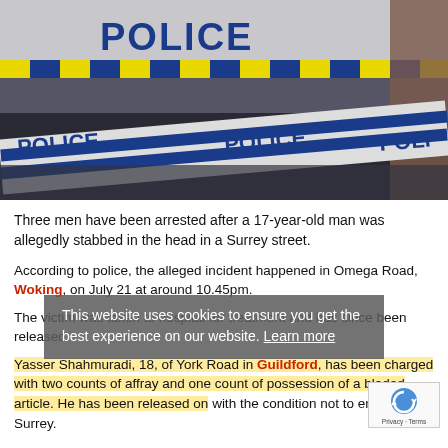[Figure (photo): Police car and police tape with POLICE written in blue letters on yellow/white tape, at a crime scene.]
Three men have been arrested after a 17-year-old man was allegedly stabbed in the head in a Surrey street.
According to police, the alleged incident happened in Omega Road, Woking, on July 21 at around 10.45pm.
The victim was taken to hospital for treatment and has since been released.
This website uses cookies to ensure you get the best experience on our website. Learn more
Yasser Shahmuradi, 18, of York Road in Guildford, has been charged with two counts of affray and one count of possession of a bladed article. He has been released on with the condition not to enter Surrey.